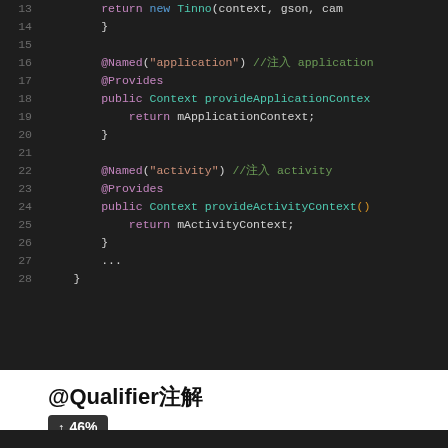[Figure (screenshot): Code editor screenshot showing Java/Android code lines 13-28 with syntax highlighting on dark background. Shows @Named, @Provides annotations and provideApplicationContext/provideActivityContext methods.]
@Qualifier注解
↑ 46%